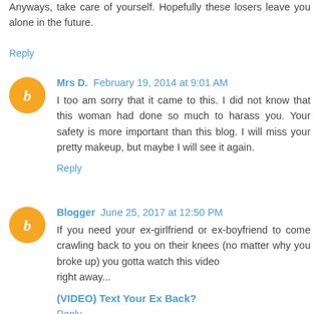Anyways, take care of yourself. Hopefully these losers leave you alone in the future.
Reply
Mrs D.  February 19, 2014 at 9:01 AM
I too am sorry that it came to this. I did not know that this woman had done so much to harass you. Your safety is more important than this blog. I will miss your pretty makeup, but maybe I will see it again.
Reply
Blogger  June 25, 2017 at 12:50 PM
If you need your ex-girlfriend or ex-boyfriend to come crawling back to you on their knees (no matter why you broke up) you gotta watch this video
right away...
(VIDEO) Text Your Ex Back?
Reply